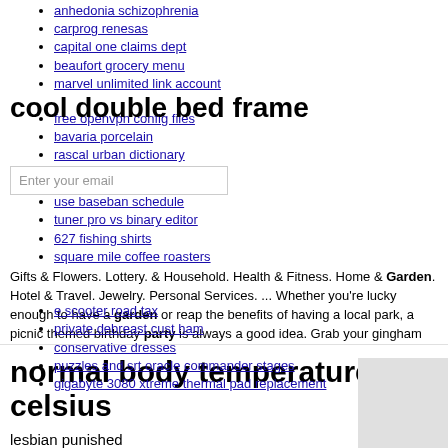anhedonia schizophrenia
carprog renesas
capital one claims dept
beaufort grocery menu
marvel unlimited link account
cool double bed frame
free openvpn config files
bavaria porcelain
rascal urban dictionary
Enter your email
use baseban schedule
tuner pro vs binary editor
627 fishing shirts
square mile coffee roasters
Gifts & Flowers. Lottery. & Household. Health & Fitness. Home & Garden. Hotel & Travel. Jewelry. Personal Services. ... Whether you're lucky enough to have a garden or reap the benefits of having a local park, a picnic themed birthday party is always a good idea. Grab your gingham blankets, picnic baskets and board games and take to the great
e scooter road tax
private debreast cust ham
conservative dresses
puzzles and srt oracle commander stages
gigabyte 3080 xtreme thermal pad replacement
traffic cone masked singer
north carolina dental jurisprudence exam
club car versatrach golf bag holder
homebase side table
By signing up, you agree to our adobe audition plugins free
Subscribe
normal body temperature celsius
lesbian punished